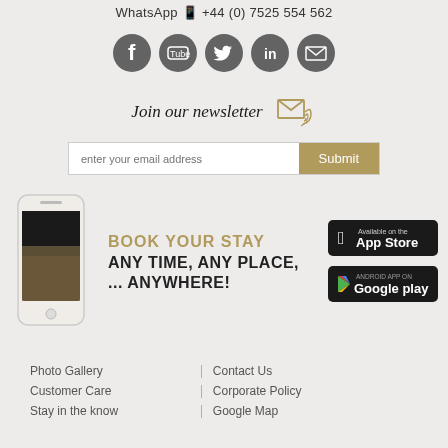WhatsApp +44 (0) 7525 554 562
[Figure (infographic): Row of 5 social media icons: Facebook, YouTube, Twitter, LinkedIn, Email — dark grey circular buttons]
Join our newsletter
[Figure (illustration): Gold/tan email newsletter icon — envelope with signal waves]
enter your email address  |  Submit
[Figure (photo): Smartphone showing a hotel room interior app screen]
BOOK YOUR STAY
ANY TIME, ANY PLACE, ... ANYWHERE!
[Figure (infographic): App Store download badge (black, Apple logo)]
[Figure (infographic): Google Play download badge (black, colorful Play logo)]
Photo Gallery | Contact Us
Customer Care | Corporate Policy
Stay in the know | Google Map